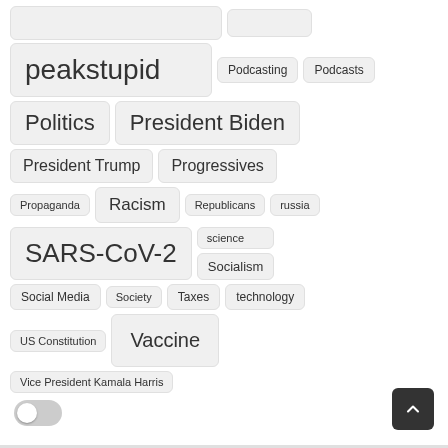peakstupid
Podcasting
Podcasts
Politics
President Biden
President Trump
Progressives
Propaganda
Racism
Republicans
russia
SARS-CoV-2
science
Socialism
Social Media
Society
Taxes
technology
US Constitution
Vaccine
Vice President Kamala Harris